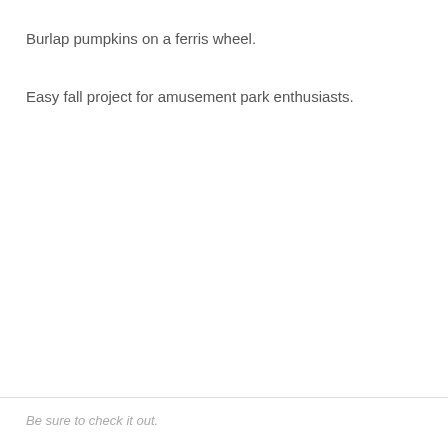Burlap pumpkins on a ferris wheel.
Easy fall project for amusement park enthusiasts.
Be sure to check it out.